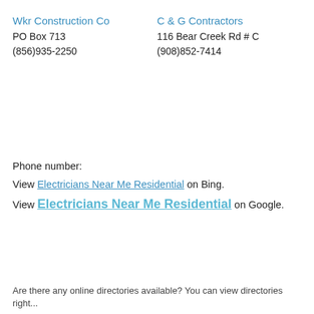Wkr Construction Co
PO Box 713
(856)935-2250
C & G Contractors
116 Bear Creek Rd # C
(908)852-7414
Phone number:
View Electricians Near Me Residential on Bing.
View Electricians Near Me Residential on Google.
Are there any online directories available? You can view directories right...